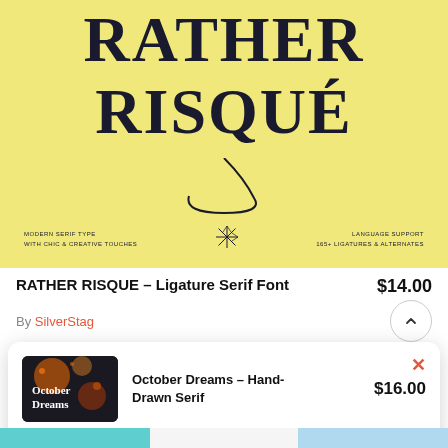[Figure (illustration): Yellow/cream background banner showing decorative serif typeface 'RATHER RISQUÉ' in large bold display text with swash details. Bottom row shows: 'MODERN SERIF TYPE / WITH CHIC & CREATIVE TOUCHES', a starburst ornament, and 'LANGUAGE SUPPORT / 165+ LIGATURES & ALTERNATES'.]
RATHER RISQUE – Ligature Serif Font   $14.00
By SilverStag
[Figure (illustration): Popup card showing October Dreams font product thumbnail (dark background with orange botanical elements and white serif type reading 'October Dreams'), product name 'October Dreams – Hand-Drawn Serif', price '$16.00', close X button, 'Add To Cart' red pill button, and 'Buy It Now' outlined pill button.]